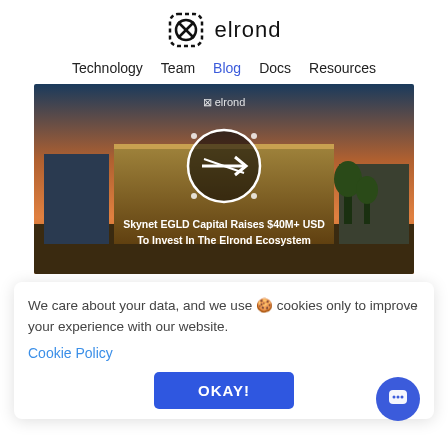[Figure (logo): Elrond logo: octagon/circle icon with X pattern and the word 'elrond' in black]
Technology   Team   Blog   Docs   Resources
[Figure (photo): Hero image of a European city building at dusk with Elrond EGLD logo overlaid. Text overlay reads: Skynet EGLD Capital Raises $40M+ USD To Invest In The Elrond Ecosystem]
We care about your data, and we use 🍪 cookies only to improve your experience with our website.
Cookie Policy
OKAY!